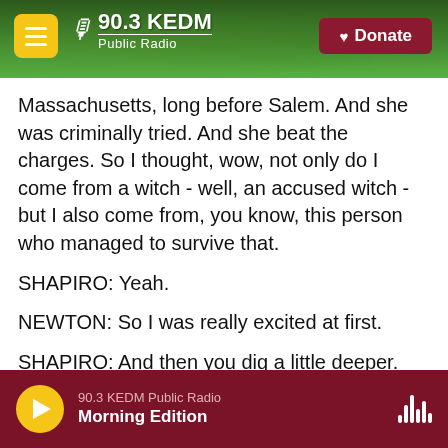[Figure (screenshot): 90.3 KEDM Public Radio website header with forest background, yellow menu button, white logo with radio tower icon, and dark red Donate button with heart icon]
Massachusetts, long before Salem. And she was criminally tried. And she beat the charges. So I thought, wow, not only do I come from a witch - well, an accused witch - but I also come from, you know, this person who managed to survive that.
SHAPIRO: Yeah.
NEWTON: So I was really excited at first.
SHAPIRO: And then you dig a little deeper. And what did you find?
NEWTON: I found that, as you say, in founding the
90.3 KEDM Public Radio — Morning Edition